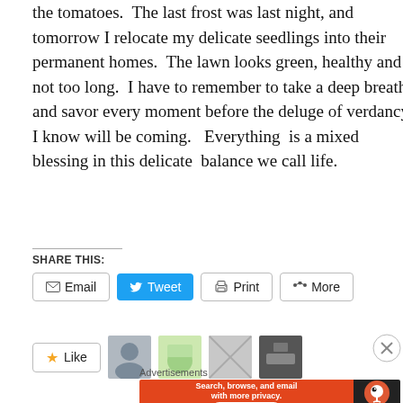the tomatoes.  The last frost was last night, and tomorrow I relocate my delicate seedlings into their permanent homes.  The lawn looks green, healthy and not too long.  I have to remember to take a deep breath and savor every moment before the deluge of verdancy I know will be coming.   Everything  is a mixed blessing in this delicate  balance we call life.
SHARE THIS:
[Figure (screenshot): Social sharing buttons: Email, Tweet (blue), Print, More]
[Figure (screenshot): Like button and four thumbnail images of blog post avatars/photos]
[Figure (infographic): DuckDuckGo advertisement banner: Search, browse, and email with more privacy. All in One Free App]